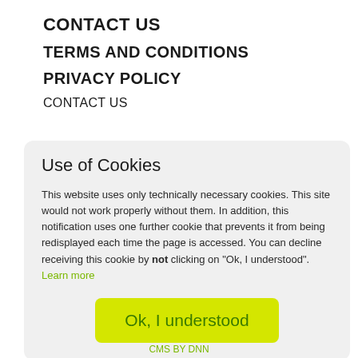CONTACT US
TERMS AND CONDITIONS
PRIVACY POLICY
CONTACT US
Use of Cookies
This website uses only technically necessary cookies. This site would not work properly without them. In addition, this notification uses one further cookie that prevents it from being redisplayed each time the page is accessed. You can decline receiving this cookie by not clicking on "Ok, I understood". Learn more
Ok, I understood
CMS BY DNN